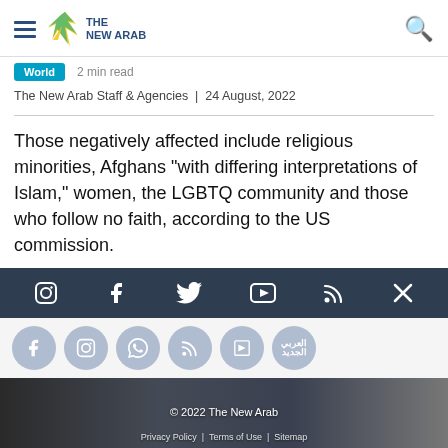THE NEW ARAB
World  2 min read
The New Arab Staff & Agencies  |  24 August, 2022
Those negatively affected include religious minorities, Afghans "with differing interpretations of Islam," women, the LGBTQ community and those who follow no faith, according to the US commission.
[Figure (other): Dark navigation bar with social media icons: Instagram, Facebook, Twitter, YouTube, RSS, X]
[Figure (other): Row of social sharing circular buttons: Facebook, Instagram/Twitter, WhatsApp, RSS, Flipboard, Arabic site]
[Figure (photo): Photo of women in black abayas on a street, with copyright overlay '© 2022 The New Arab' and footer links 'Privacy Policy | Terms of Use | Sitemap']
Most Viewed ^